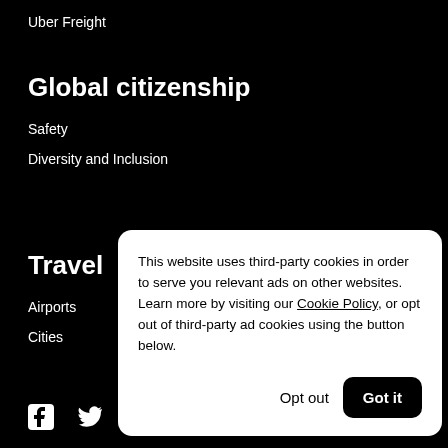Uber Freight
Global citizenship
Safety
Diversity and Inclusion
Travel
Airports
Cities
[Figure (other): Facebook and Twitter social media icons]
This website uses third-party cookies in order to serve you relevant ads on other websites. Learn more by visiting our Cookie Policy, or opt out of third-party ad cookies using the button below.